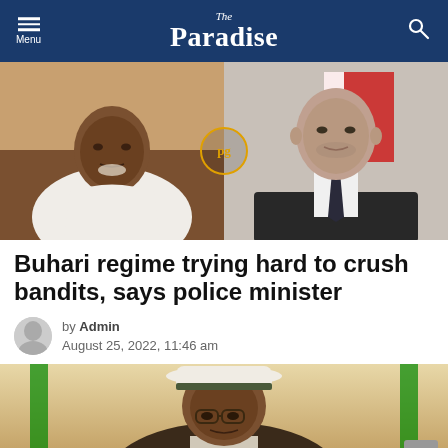The Paradise
[Figure (photo): Composite photo showing two men side by side: on the left, a Black man in a white traditional Nigerian garment; on the right, a white man in a black suit with a dark tie, with a red and white flag in the background. A watermark 'pg' is overlaid in the center.]
Buhari regime trying hard to crush bandits, says police minister
by Admin
August 25, 2022, 11:46 am
[Figure (photo): Photo of a man wearing a white hat with a dark stripe and glasses, seated, viewed from below the chin up, in a formal setting with flags visible in the background.]